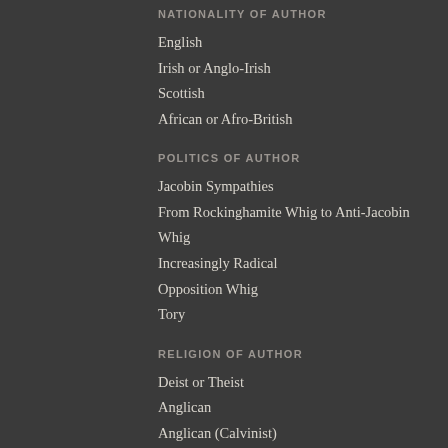NATIONALITY OF AUTHOR
English
Irish or Anglo-Irish
Scottish
African or Afro-British
POLITICS OF AUTHOR
Jacobin Sympathies
From Rockinghamite Whig to Anti-Jacobin
Whig
Increasingly Radical
Opposition Whig
Tory
RELIGION OF AUTHOR
Deist or Theist
Anglican
Anglican (Calvinist)
Dissenter or Nonconformist